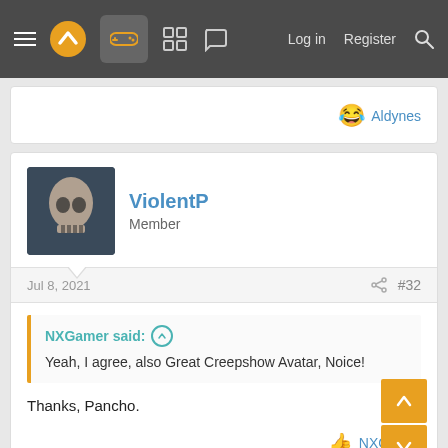Navigation bar with menu, logo, controller icon, grid icon, chat icon, Log in, Register, Search
😂 Aldynes
ViolentP
Member
Jul 8, 2021  #32
NXGamer said: ↑
Yeah, I agree, also Great Creepshow Avatar, Noice!
Thanks, Pancho.
NXGamer
Aldynes